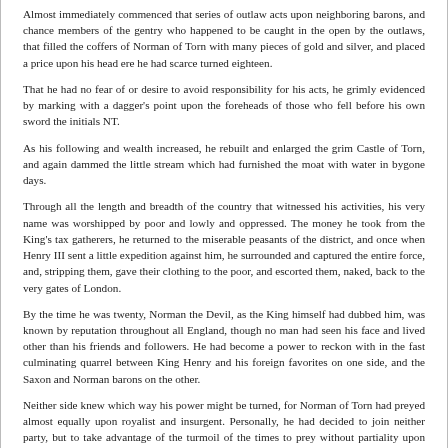Almost immediately commenced that series of outlaw acts upon neighboring barons, and chance members of the gentry who happened to be caught in the open by the outlaws, that filled the coffers of Norman of Torn with many pieces of gold and silver, and placed a price upon his head ere he had scarce turned eighteen.
That he had no fear of or desire to avoid responsibility for his acts, he grimly evidenced by marking with a dagger's point upon the foreheads of those who fell before his own sword the initials NT.
As his following and wealth increased, he rebuilt and enlarged the grim Castle of Torn, and again dammed the little stream which had furnished the moat with water in bygone days.
Through all the length and breadth of the country that witnessed his activities, his very name was worshipped by poor and lowly and oppressed. The money he took from the King's tax gatherers, he returned to the miserable peasants of the district, and once when Henry III sent a little expedition against him, he surrounded and captured the entire force, and, stripping them, gave their clothing to the poor, and escorted them, naked, back to the very gates of London.
By the time he was twenty, Norman the Devil, as the King himself had dubbed him, was known by reputation throughout all England, though no man had seen his face and lived other than his friends and followers. He had become a power to reckon with in the fast culminating quarrel between King Henry and his foreign favorites on one side, and the Saxon and Norman barons on the other.
Neither side knew which way his power might be turned, for Norman of Torn had preyed almost equally upon royalist and insurgent. Personally, he had decided to join neither party, but to take advantage of the turmoil of the times to prey without partiality upon both.
As Norman of Torn approached his grim castle home with his five filthy, ragged cut-throats on the day of his first meeting with them, the old man of Torn stood watching the little party from one of the small towers of the barbican.